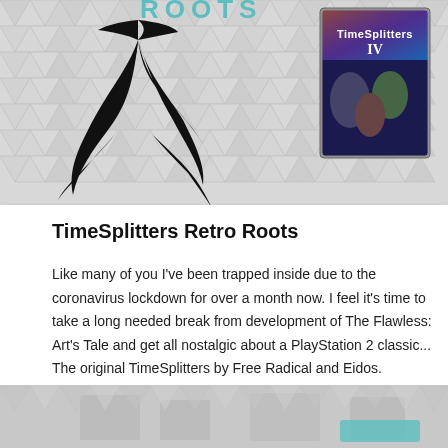[Figure (illustration): Top banner with geometric hexagon/triangle pattern background, a black tree roots logo on the left with 'ROOTS' text, and a TimeSplitters game box cover on the right]
TimeSplitters Retro Roots
Like many of you I've been trapped inside due to the coronavirus lockdown for over a month now. I feel it's time to take a long needed break from development of The Flawless: Art's Tale and get all nostalgic about a PlayStation 2 classic... The original TimeSplitters by Free Radical and Eidos. (more...)
read more →
Ste Wilson
30th April 2020